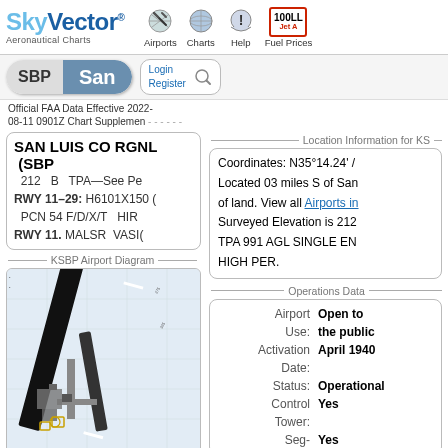SkyVector Aeronautical Charts — Airports, Charts, Help, Fuel Prices
SBP  San
Login
Register
Official FAA Data Effective 2022-08-11 0901Z
Chart Supplement
Location Information for KS...
SAN LUIS CO RGNL (SBP
212  B  TPA—See Pe
RWY 11–29: H6101X150 (
PCN 54 F/D/X/T  HIR
RWY 11. MALSR VASI(
Coordinates: N35°14.24' /
Located 03 miles S of San
of land. View all Airports in
Surveyed Elevation is 212
TPA 991 AGL SINGLE EN
HIGH PER.
KSBP Airport Diagram
[Figure (engineering-diagram): KSBP Airport Diagram showing runways, taxiways, and airport layout]
Operations Data
| Field | Value |
| --- | --- |
| Airport Use: | Open to the public |
| Activation Date: | April 1940 |
| Status: | Operational |
| Control Tower: | Yes |
| Seg-Circle: | Yes |